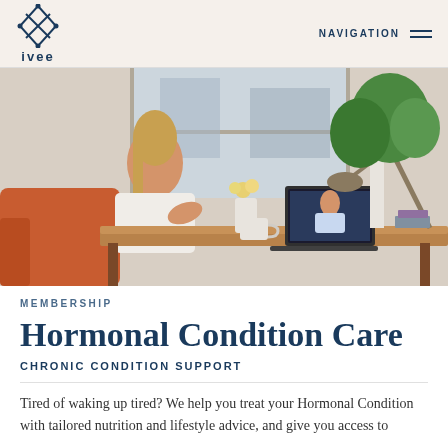ivee — NAVIGATION
[Figure (photo): Woman sitting on an orange chair at a wooden desk, having a video call on a laptop with another woman visible on screen. Desk lamp and large green plant in background near a window.]
MEMBERSHIP
Hormonal Condition Care
CHRONIC CONDITION SUPPORT
Tired of waking up tired? We help you treat your Hormonal Condition with tailored nutrition and lifestyle advice, and give you access to…